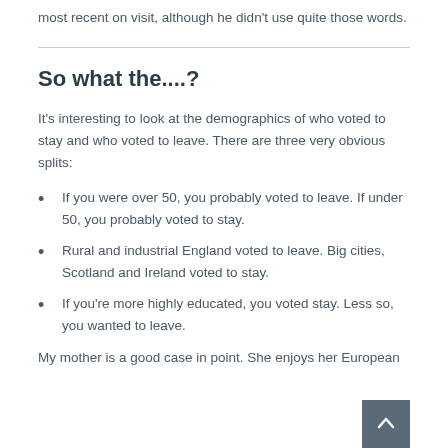most recent on visit, although he didn't use quite those words.
So what the....?
It's interesting to look at the demographics of who voted to stay and who voted to leave. There are three very obvious splits:
If you were over 50, you probably voted to leave. If under 50, you probably voted to stay.
Rural and industrial England voted to leave. Big cities, Scotland and Ireland voted to stay.
If you're more highly educated, you voted stay. Less so, you wanted to leave.
My mother is a good case in point. She enjoys her European